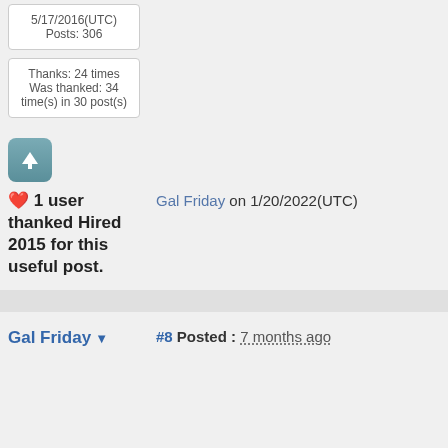Posts: 306
Thanks: 24 times
Was thanked: 34 time(s) in 30 post(s)
[Figure (other): Up-vote button: teal rounded square with white upward arrow]
❤ 1 user thanked Hired 2015 for this useful post.
Gal Friday on 1/20/2022(UTC)
Gal Friday
#8 Posted : 7 months ago